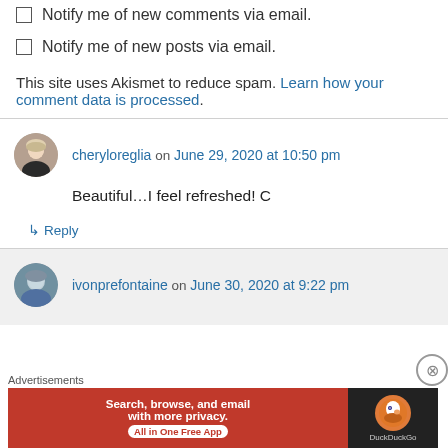Notify me of new comments via email.
Notify me of new posts via email.
This site uses Akismet to reduce spam. Learn how your comment data is processed.
cheryloreglia on June 29, 2020 at 10:50 pm
Beautiful…I feel refreshed! C
↳ Reply
ivonprefontaine on June 30, 2020 at 9:22 pm
[Figure (infographic): DuckDuckGo advertisement banner: 'Search, browse, and email with more privacy. All in One Free App' with DuckDuckGo duck logo on dark background.]